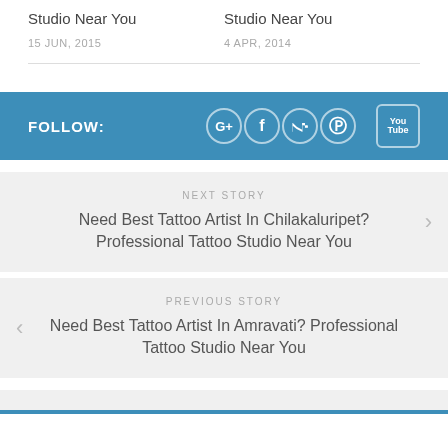Studio Near You
Studio Near You
15 JUN, 2015
4 APR, 2014
FOLLOW:
[Figure (other): Social media icons: Google+, Facebook, Twitter, Pinterest, YouTube]
NEXT STORY
Need Best Tattoo Artist In Chilakaluripet? Professional Tattoo Studio Near You
PREVIOUS STORY
Need Best Tattoo Artist In Amravati? Professional Tattoo Studio Near You